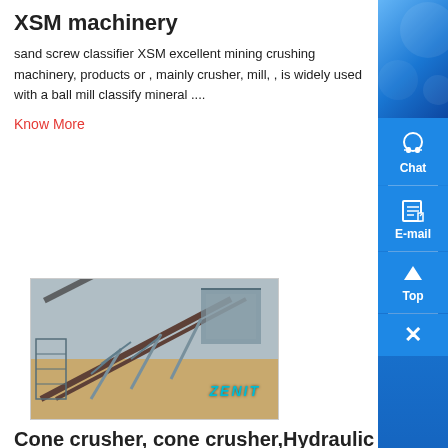XSM machinery
sand screw classifier XSM excellent mining crushing machinery, products or , mainly crusher, mill, , is widely used with a ball mill classify mineral ....
Know More
[Figure (photo): Industrial mining conveyor belt and crushing equipment at an open-air site, with ZENIT watermark]
Cone crusher, cone crusher,Hydraulic cone crush
,
Cone crusher is used for crushing all kinds of , concrete , firepro material , perlite, ironstone, basalt etc series hydraulic cone crusher is widely ....